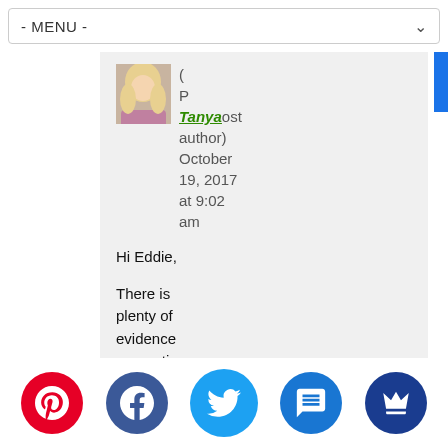- MENU -
[Figure (photo): Small avatar photo of a blonde woman]
(Post author) Tanya October 19, 2017 at 9:02 am
Hi Eddie,
There is plenty of evidence supporting the ne... p...